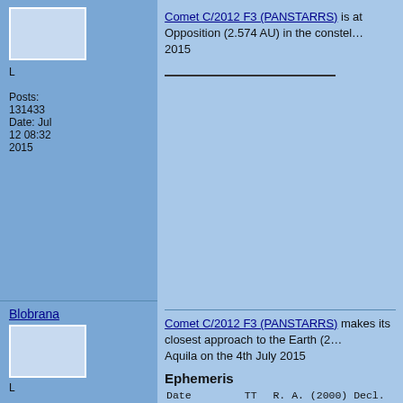L
Posts:
131433
Date: Jul 12 08:32 2015
Comet C/2012 F3 (PANSTARRS) is at Opposition (2.574 AU) in the constel… 2015
Blobrana
L
Posts:
131433
Date: Jul 3 04:23 2015
Comet C/2012 F3 (PANSTARRS) makes its closest approach to the Earth (2… Aquila on the 4th July 2015
Ephemeris
| Date | TT | R. A. (2000) Decl. | Delta | r |
| --- | --- | --- | --- | --- |
| 2015 07 01 |  | 19 22 06.3 -08 39 10 | 2.5647 | 3.5456 |
| 2015 07 02 |  | 19 21 45.4 -08 41 05 | 2.5641 | 3.5477 |
| 2015 07 03 |  | 19 21 24.2 -08 43 07 | 2.5637 | 3.5498 |
| 2015 07 04 |  | 19 21 02.8 -08 45 13 | 2.5635 | 3.5519 |
| 2015 07 05 |  | 19 20 41.2 -08 47 26 | 2.5636 | 3.5540 |
| 2015 07 06 |  | 19 20 19.5 -08 49 43 | 2.5640 | 3.5561 |
| 2015 07 07 |  | 19 19 57.6 -08 52 06 | 2.5646 | 3.5583 |
| 2015 07 08 |  | 19 19 35.5 -08 54 34 | 2.5655 | 3.5605 |
| 2015 07 09 |  | 19 19 13.5 -08 57 08 | 2.5666 | 3.5627 |
| 2015 07 10 |  | 19 18 51.3 -08 59 46 | 2.5681 | 3.5649 |
| 2015 07 11 |  | 19 18 29.2 -09 02 29 | 2.5697 | 3.5672 |
| 2015 07 12 |  | 19 18 07.0 -09 05 17 | 2.5717 | 3.5695 |
| 2015 07 13 |  | 19 17 45.0 -09 08 10 | 2.5739 | 3.5718 |